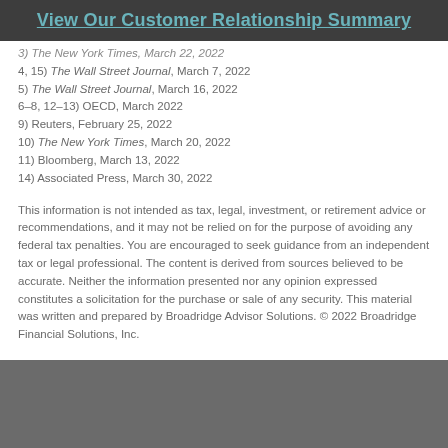View Our Customer Relationship Summary
3) The New York Times, March 22, 2022
4, 15) The Wall Street Journal, March 7, 2022
5) The Wall Street Journal, March 16, 2022
6–8, 12–13) OECD, March 2022
9) Reuters, February 25, 2022
10) The New York Times, March 20, 2022
11) Bloomberg, March 13, 2022
14) Associated Press, March 30, 2022
This information is not intended as tax, legal, investment, or retirement advice or recommendations, and it may not be relied on for the purpose of avoiding any federal tax penalties. You are encouraged to seek guidance from an independent tax or legal professional. The content is derived from sources believed to be accurate. Neither the information presented nor any opinion expressed constitutes a solicitation for the purchase or sale of any security. This material was written and prepared by Broadridge Advisor Solutions. © 2022 Broadridge Financial Solutions, Inc.